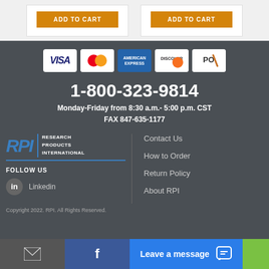[Figure (other): Two product cards with orange ADD TO CART buttons on light gray background]
[Figure (other): Payment method icons: VISA, MasterCard, American Express, Discover, PO]
1-800-323-9814
Monday-Friday from 8:30 a.m.- 5:00 p.m. CST
FAX 847-635-1177
[Figure (logo): RPI Research Products International logo]
FOLLOW US
Linkedin
Contact Us
How to Order
Return Policy
About RPI
Copyright 2022. RPI. All Rights Reserved.
[Figure (other): Bottom navigation bar with mail icon, Facebook icon, Leave a message chat button, and green button]